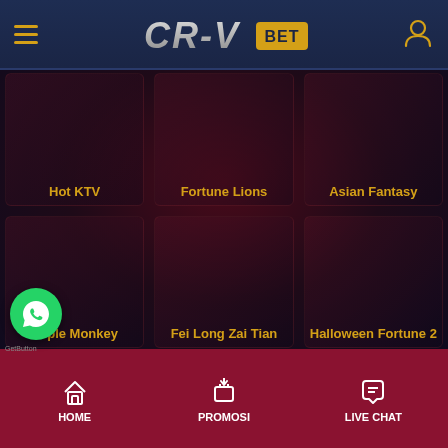[Figure (screenshot): CR-V BET online gambling platform mobile app interface showing game lobby with slots (Hot KTV, Fortune Lions, Asian Fantasy, Triple Monkey, Fei Long Zai Tian, Halloween Fortune 2) in a 3x2 grid, dark purple/maroon background, gold header logo, bottom navigation bar with HOME, PROMOSI, LIVE CHAT]
CR-V BET
Hot KTV
Fortune Lions
Asian Fantasy
Triple Monkey
Fei Long Zai Tian
Halloween Fortune 2
HOME  PROMOSI  LIVE CHAT